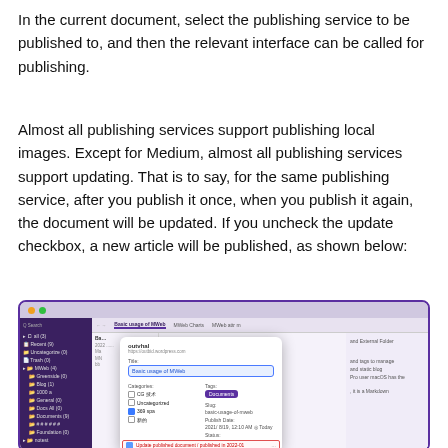In the current document, select the publishing service to be published to, and then the relevant interface can be called for publishing.
Almost all publishing services support publishing local images. Except for Medium, almost all publishing services support updating. That is to say, for the same publishing service, after you publish it once, when you publish it again, the document will be updated. If you uncheck the update checkbox, a new article will be published, as shown below:
[Figure (screenshot): Screenshot of a publishing dialog in a Markdown editor application (MWeb or similar). Shows a dialog titled 'outvhal' with fields for Title (filled with 'Basic usage of MWeb'), Categories (with checkboxes including CG 技术, Uncategorized, 369 spa, 新的), Tags (showing 'Documents' badge), Slug, Publish Date (2021/8/19 12:10 AM Today), Status (Published with checkbox), and at the bottom a highlighted row reading 'Update published document / published in 2022-01'. The dialog is on a dark purple sidebar app interface.]